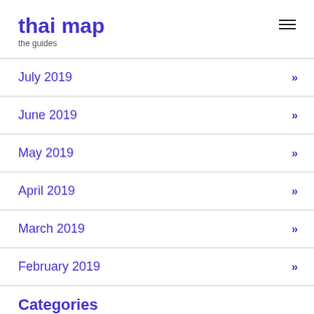thai map
the guides
July 2019
June 2019
May 2019
April 2019
March 2019
February 2019
Categories